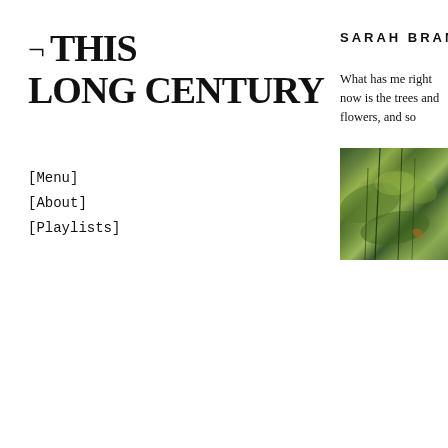¬ THIS LONG CENTURY
[Menu]
[About]
[Playlists]
SARAH BRAMAN
What has me right now is the trees and flowers, and so
[Figure (photo): Close-up photograph of green plant stems and leaves with bokeh background, golden-green foliage]